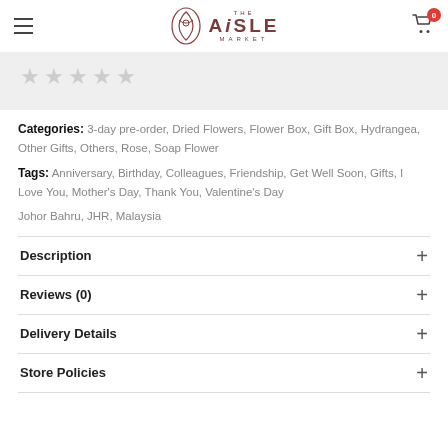THE AiSLE MARKET
[Figure (other): Five empty star rating icons on light grey background]
Categories: 3-day pre-order, Dried Flowers, Flower Box, Gift Box, Hydrangea, Other Gifts, Others, Rose, Soap Flower
Tags: Anniversary, Birthday, Colleagues, Friendship, Get Well Soon, Gifts, I Love You, Mother's Day, Thank You, Valentine's Day
Johor Bahru, JHR, Malaysia
Description
Reviews (0)
Delivery Details
Store Policies